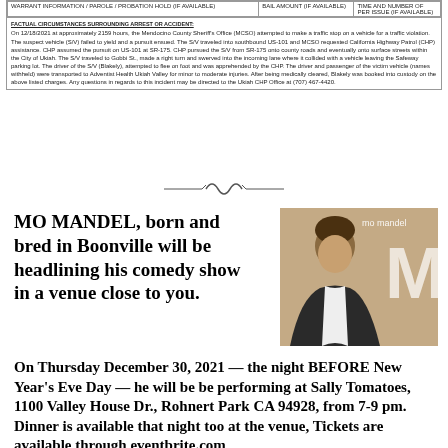| WARRANT INFORMATION / PAROLE / PROBATION HOLD (IF AVAILABLE) | BAIL AMOUNT (IF AVAILABLE) | TIME AND NUMBER OF PER ISSUE (IF AVAILABLE) |
| --- | --- | --- |
FACTUAL CIRCUMSTANCES SURROUNDING ARREST OR ACCIDENT:
On 12/18/2021 at approximately 2159 hours, the Mendocino County Sheriff's Office (MCSO) attempted to make a traffic stop on a vehicle for a traffic violation. The suspect vehicle (S/V) failed to yield and a pursuit ensued. The S/V traveled into southbound US-101 and MCSO requested California Highway Patrol (CHP) assistance. CHP assumed the pursuit on US-101 at SR-175. CHP pursued the S/V from SR-175 onto county roads and eventually onto surface streets within the City of Ukiah. The S/V traveled to Gobbi St., made a right turn and swerved into the incoming lane where it collided with a vehicle leaving the Safeway parking lot. The driver of the S/V (Blakely), attempted to flee on foot and was apprehended by the CHP. The driver and passenger of the victim vehicle (names withheld) were transported to Adventist Health Ukiah Valley for minor to moderate injuries. After being medically cleared, Blakely was booked into custody on the above listed charges. Any questions in regards to this incident may be directed to the Ukiah CHP Office at (707) 467-4420.
[Figure (illustration): Decorative horizontal divider with curled ornamental design]
MO MANDEL, born and bred in Boonville will be headlining his comedy show in a venue close to you.
[Figure (photo): Photo of Mo Mandel, a man in a dark suit jacket with white shirt, with text 'mo mandel' and large letter M in background]
On Thursday December 30, 2021 — the night BEFORE New Year's Eve Day — he will be be performing at Sally Tomatoes, 1100 Valley House Dr., Rohnert Park CA 94928, from 7-9 pm. Dinner is available that night too at the venue, Tickets are available through eventbrite.com